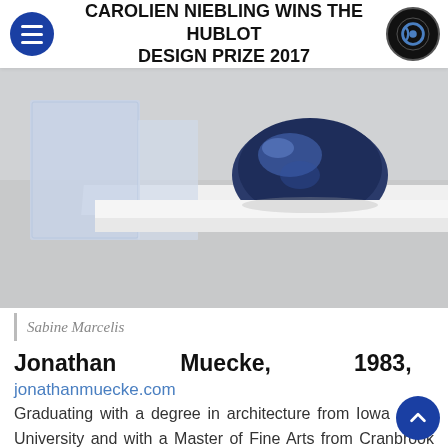CAROLIEN NIEBLING WINS THE HUBLOT DESIGN PRIZE 2017
[Figure (photo): Photograph of design objects on a white shelf: frosted blue-white rectangular blocks and a dark blue circular disc/lens object, on a light grey background.]
Sabine Marcelis
Jonathan Muecke, 1983,
jonathanmuecke.com
Graduating with a degree in architecture from Iowa State University and with a Master of Fine Arts from Cranbrook Academy of Art, he reinterprets ordinary designs with the aim of showcasing their qualities and distinctions. Working in his studio in Minneapolis, he generally only uses one material at a time. He has a minimalist approach that plays on the